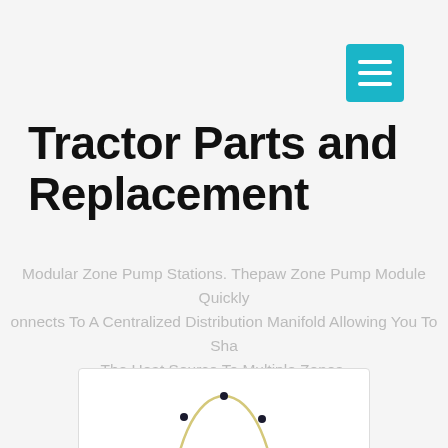[Figure (other): Teal/cyan hamburger menu button in top right corner]
Tractor Parts and Replacement
Modular Zone Pump Stations. Thepaw Zone Pump Module Quickly Connects To A Centralized Distribution Manifold Allowing You To Sha The Heat Source To Multiple Zones.
[Figure (photo): A thin gold/cream colored oval necklace or chain with small dark accent beads evenly spaced around it, displayed on a white background inside a bordered box.]